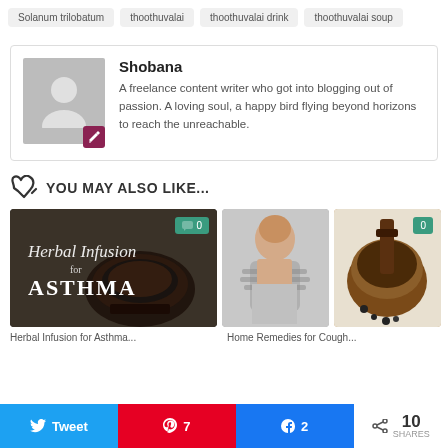Solanum trilobatum
thoothuvalai
thoothuvalai drink
thoothuvalai soup
Shobana — A freelance content writer who got into blogging out of passion. A loving soul, a happy bird flying beyond horizons to reach the unreachable.
YOU MAY ALSO LIKE...
[Figure (photo): Herbal Infusion for ASTHMA — tea cup image with comment badge showing 0]
[Figure (photo): Person coughing with scarf around neck]
[Figure (photo): Mortar and pestle with spices, comment badge showing 0]
Share bar: Twitter, Pinterest 7, Facebook 2, 10 SHARES